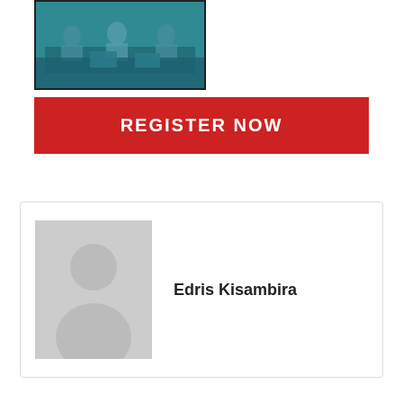[Figure (photo): Meeting/conference photo with teal/blue overlay showing people sitting around a table with laptops]
REGISTER NOW
[Figure (photo): Gray silhouette placeholder avatar for profile picture]
Edris Kisambira